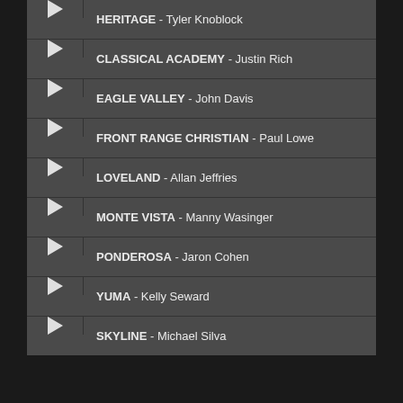HERITAGE - Tyler Knoblock
CLASSICAL ACADEMY - Justin Rich
EAGLE VALLEY - John Davis
FRONT RANGE CHRISTIAN - Paul Lowe
LOVELAND - Allan Jeffries
MONTE VISTA - Manny Wasinger
PONDEROSA - Jaron Cohen
YUMA - Kelly Seward
SKYLINE - Michael Silva